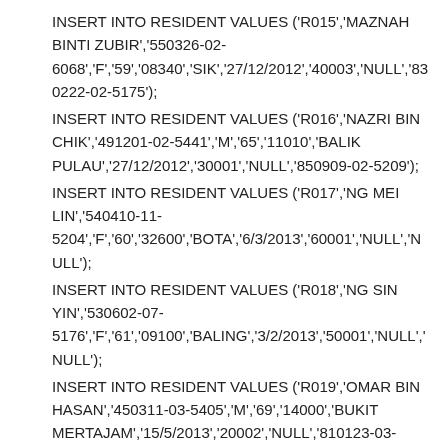INSERT INTO RESIDENT VALUES ('R015','MAZNAH BINTI ZUBIR','550326-02-6068','F','59','08340','SIK','27/12/2012','40003','NULL','830222-02-5175');
INSERT INTO RESIDENT VALUES ('R016','NAZRI BIN CHIK','491201-02-5441','M','65','11010','BALIK PULAU','27/12/2012','30001','NULL','850909-02-5209');
INSERT INTO RESIDENT VALUES ('R017','NG MEI LIN','540410-11-5204','F','60','32600','BOTA','6/3/2013','60001','NULL','NULL');
INSERT INTO RESIDENT VALUES ('R018','NG SIN YIN','530602-07-5176','F','61','09100','BALING','3/2/2013','50001','NULL','NULL');
INSERT INTO RESIDENT VALUES ('R019','OMAR BIN HASAN','450311-03-5405','M','69','14000','BUKIT MERTAJAM','15/5/2013','20002','NULL','810123-03-6210');
INSERT INTO RESIDENT VALUES ('R020','PUVANESWARI A/P MALAYANDY','540312-09-5244','F','60','13210','KEPALA BATAS','16/2/2013','40002','NULL','NULL');
INSERT INTO RESIDENT VALUES ('R021','RAMLAH BINTI MD NOR','501018-01-